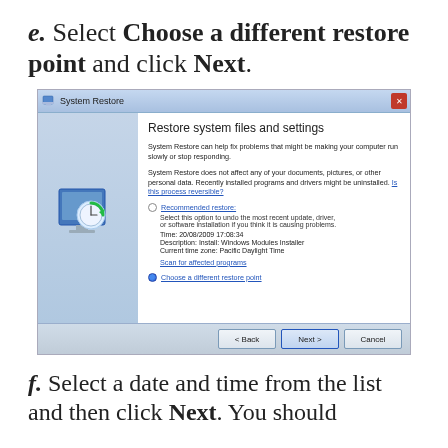e. Select Choose a different restore point and click Next.
[Figure (screenshot): Windows System Restore dialog showing 'Restore system files and settings' with options for Recommended restore and Choose a different restore point (selected), along with Back, Next, and Cancel buttons.]
f. Select a date and time from the list and then click Next. You should